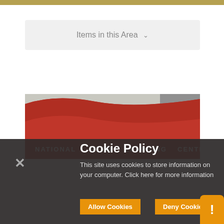Items in this Area ∨
[Figure (photo): Exterior photograph of the National STEM Learning Centre building with red curved facade and signage reading NATIONAL STEM LEARNING CENTRE]
Cookie Policy
This site uses cookies to store information on your computer. Click here for more information
Allow Cookies
Deny Cookies